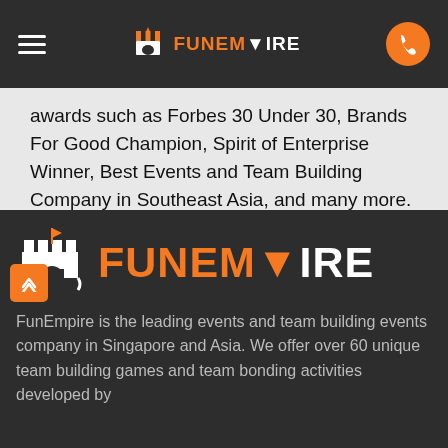FunEmpire navigation bar
awards such as Forbes 30 Under 30, Brands For Good Champion, Spirit of Enterprise Winner, Best Events and Team Building Company in Southeast Asia, and many more.
Learn More About FunEmpire®
[Figure (logo): FunEmpire logo with castle icon and brand name in orange and white on dark background]
FunEmpire is the leading events and team building events company in Singapore and Asia. We offer over 60 unique team building games and team bonding activities developed by